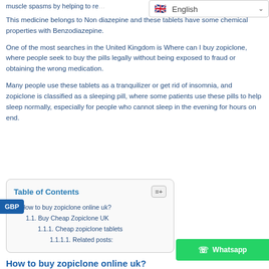muscle spasms by helping to re…
This medicine belongs to Non diazepine and these tablets have some chemical properties with Benzodiazepine.
One of the most searches in the United Kingdom is Where can I buy zopiclone, where people seek to buy the pills legally without being exposed to fraud or obtaining the wrong medication.
Many people use these tablets as a tranquilizer or get rid of insomnia, and zopiclone is classified as a sleeping pill, where some patients use these pills to help sleep normally, especially for people who cannot sleep in the evening for hours on end.
English (language selector)
Table of Contents
1. How to buy zopiclone online uk?
1.1. Buy Cheap Zopiclone UK
1.1.1. Cheap zopiclone tablets
1.1.1.1. Related posts:
How to buy zopiclone online uk?